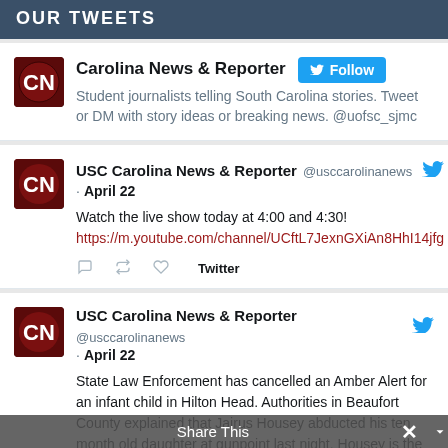OUR TWEETS
Carolina News & Reporter — Student journalists telling South Carolina stories. Tweet or DM with story ideas or breaking news. @uofsc_sjmc
USC Carolina News & Reporter @usccarolinanews · April 22 — Watch the live show today at 4:00 and 4:30! https://m.youtube.com/channel/UCftL7JexnGXiAn8HhI14jfg
USC Carolina News & Reporter @usccarolinanews · April 22 — State Law Enforcement has cancelled an Amber Alert for an infant child in Hilton Head. Authorities in Beaufort County explained that Jairus Housey abducted his ten month old daughter at gunpoint last night. Housey is the non-custodial father to the victim and is now in custody.
Share This